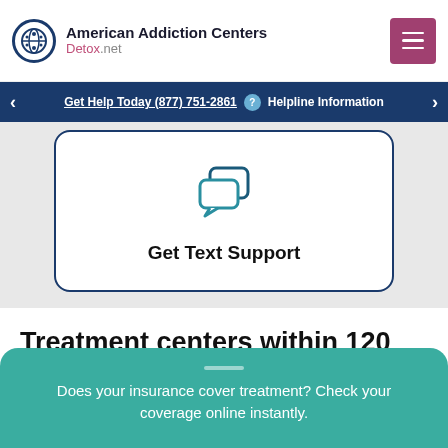American Addiction Centers Detox.net
Get Help Today (877) 751-2861  Helpline Information
[Figure (illustration): Chat/text support icon — two overlapping speech bubbles in teal/dark blue]
Get Text Support
Treatment centers within 120 miles of Evans City, PA
Does your insurance cover treatment? Check your coverage online instantly.